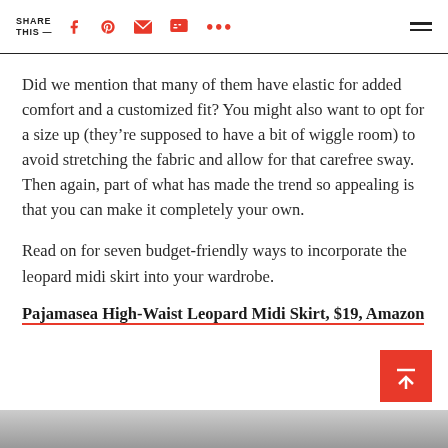SHARE THIS —
Did we mention that many of them have elastic for added comfort and a customized fit? You might also want to opt for a size up (they're supposed to have a bit of wiggle room) to avoid stretching the fabric and allow for that carefree sway. Then again, part of what has made the trend so appealing is that you can make it completely your own.
Read on for seven budget-friendly ways to incorporate the leopard midi skirt into your wardrobe.
Pajamasea High-Waist Leopard Midi Skirt, $19, Amazon
[Figure (photo): Bottom strip showing a partial image of a person wearing a leopard midi skirt]